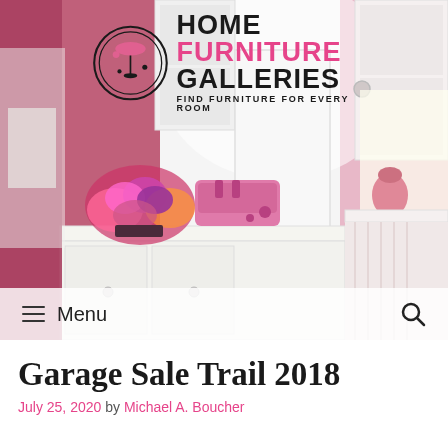[Figure (photo): Hero image of a bright pink kitchen interior with white cabinetry, a pink toaster on the counter, a floral bouquet, and pink decorative items. The Home Furniture Galleries logo appears at the top of the image.]
Garage Sale Trail 2018
July 25, 2020 by Michael A. Boucher